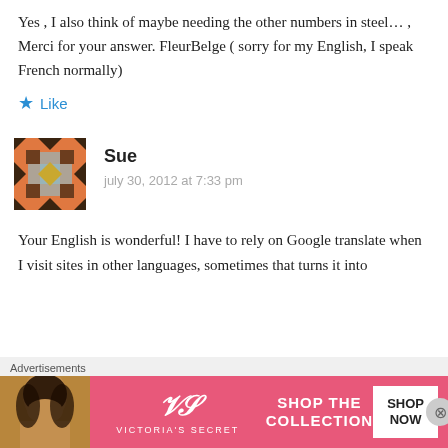Yes , I also think of maybe needing the other numbers in steel… , Merci for your answer. FleurBelge ( sorry for my English, I speak French normally)
Like
Sue
july 30, 2012 at 7:33 pm
Your English is wonderful! I have to rely on Google translate when I visit sites in other languages, sometimes that turns it into
Advertisements
[Figure (infographic): Victoria's Secret advertisement banner with a woman's photo, VS logo, 'SHOP THE COLLECTION' text, and a 'SHOP NOW' button]